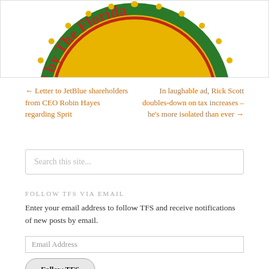[Figure (logo): Partial circular seal/logo with green border, yellow background, red text reading 'd by The Florida']
← Letter to JetBlue shareholders from CEO Robin Hayes regarding Sprit
In laughable ad, Rick Scott doubles-down on tax increases – he's more isolated than ever →
Search this site...
FOLLOW TFS VIA EMAIL
Enter your email address to follow TFS and receive notifications of new posts by email.
Email Address
Follow TFS